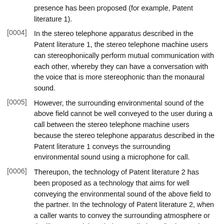presence has been proposed (for example, Patent literature 1).
[0004] In the stereo telephone apparatus described in the Patent literature 1, the stereo telephone machine users can stereophonically perform mutual communication with each other, whereby they can have a conversation with the voice that is more stereophonic than the monaural sound.
[0005] However, the surrounding environmental sound of the above field cannot be well conveyed to the user during a call between the stereo telephone machine users because the stereo telephone apparatus described in the Patent literature 1 conveys the surrounding environmental sound using a microphone for call.
[0006] Thereupon, the technology of Patent literature 2 has been proposed as a technology that aims for well conveying the environmental sound of the above field to the partner. In the technology of Patent literature 2, when a caller wants to convey the surrounding atmosphere or the like to a recipient during a call, the caller inputs the telephone number of a content server together